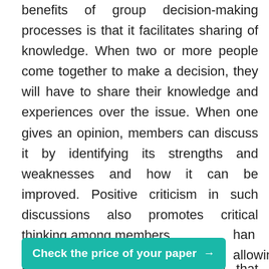benefits of group decision-making processes is that it facilitates sharing of knowledge. When two or more people come together to make a decision, they will have to share their knowledge and experiences over the issue. When one gives an opinion, members can discuss it by identifying its strengths and weaknesses and how it can be improved. Positive criticism in such discussions also promotes critical thinking among members.
Every team member will know that coming up with a decision over an issue is not enough to convince the members. One must have justification why their decision is the most appropriate. Through such engagements, members become more committed and interested in investigating the issue under [CTA button overlaps] than allowing
[Figure (other): Teal/green call-to-action button with text 'Check the price of your paper →']